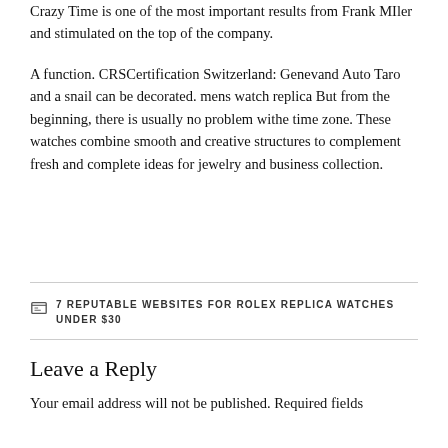Crazy Time is one of the most important results from Frank MIler and stimulated on the top of the company.
A function. CRSCertification Switzerland: Genevand Auto Taro and a snail can be decorated. mens watch replica But from the beginning, there is usually no problem withe time zone. These watches combine smooth and creative structures to complement fresh and complete ideas for jewelry and business collection.
7 REPUTABLE WEBSITES FOR ROLEX REPLICA WATCHES UNDER $30
Leave a Reply
Your email address will not be published. Required fields